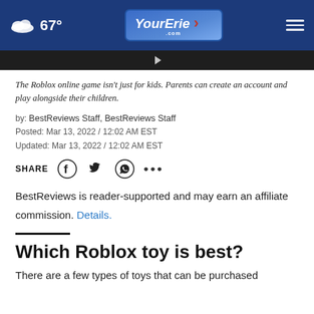67° YourErie.com
[Figure (screenshot): Dark image strip with a play button icon]
The Roblox online game isn't just for kids. Parents can create an account and play alongside their children.
by: BestReviews Staff, BestReviews Staff
Posted: Mar 13, 2022 / 12:02 AM EST
Updated: Mar 13, 2022 / 12:02 AM EST
SHARE [Facebook] [Twitter] [WhatsApp] ...
BestReviews is reader-supported and may earn an affiliate commission. Details.
Which Roblox toy is best?
There are a few types of toys that can be purchased